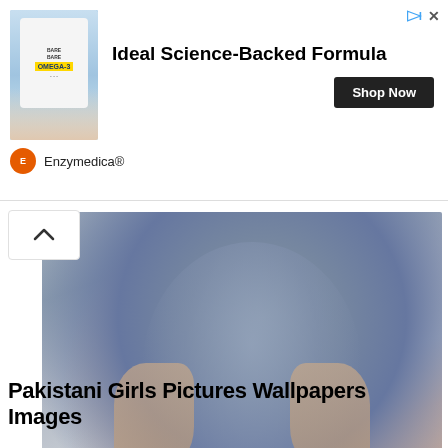[Figure (photo): Advertisement banner: photo of supplement bottle (Omega-3) held by hand near pool, with text 'Ideal Science-Backed Formula' and 'Shop Now' button, branded Enzymedica®]
[Figure (photo): Photograph of a pregnant woman in a blue patterned dress, torso only visible, holding baby bump with both hands. 'Entertainment' category badge overlaid at bottom-left.]
Pakistani Girls Pictures Wallpapers Images